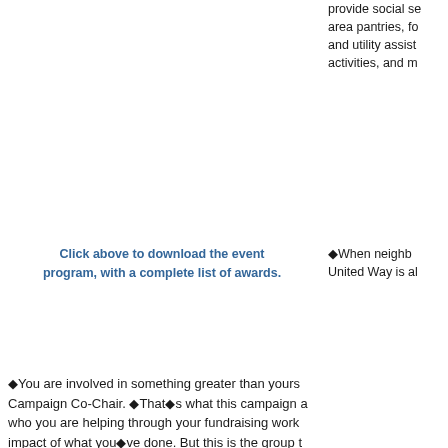provide social se... area pantries, fo... and utility asist... activities, and m...
Click above to download the event program, with a complete list of awards.
◆When neighb... United Way is al...
◆You are involved in something greater than yours... Campaign Co-Chair. ◆That◆s what this campaign a... who you are helping through your fundraising work... impact of what you◆ve done. But this is the group t...
The City of Marysville earned the 2012 Campaign Ch... honor given to the most outstanding workplace. Cha... Amanda Morris spurred awareness and interest amo... increased giving by 121% over last year. The City joi... as two new workplaces that surpassed the $10,000 p... mark achieved by only 15 workplaces since 2000. H...